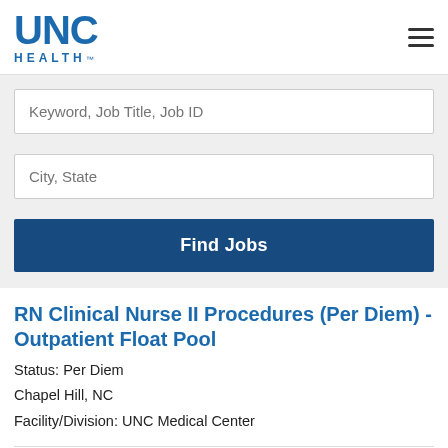[Figure (logo): UNC Health logo — blue letters UNC large, HEALTH below in smaller spaced caps]
RN Clinical Nurse II Procedures (Per Diem) - Outpatient Float Pool
Status: Per Diem
Chapel Hill, NC
Facility/Division: UNC Medical Center
RN Clinical Nurse II-Adult Surgical Oncology Clinics